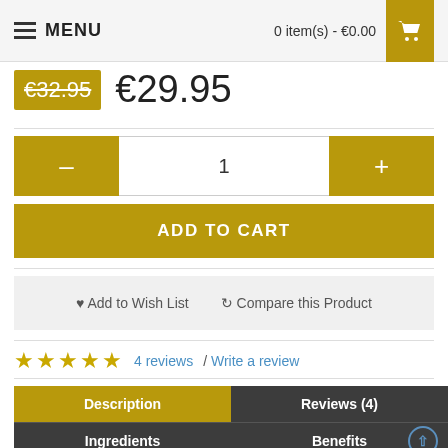MENU   0 item(s) - €0.00
€32.95  €29.95
- 1 +
ADD TO CART
♥ Add to Wish List   ↻ Compare this Product
★★★★★ 4 reviews / Write a review
Description | Reviews (4) | Ingredients | Benefits | How to Use